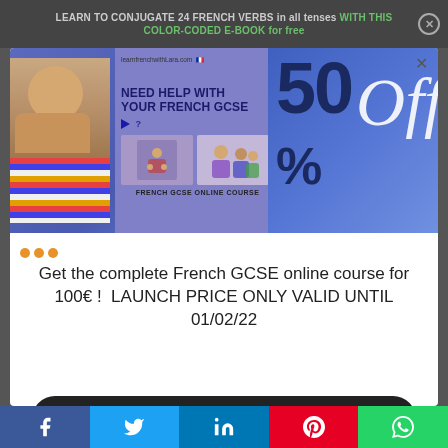LEARN TO CONJUGATE 24 FRENCH VERBS in all tenses WITH THIS COLOR-CODED E-BOOK for free
[Figure (screenshot): Advertisement popup showing French GCSE online course with 50% off discount. Left side shows a woman in colorful striped top. Middle shows purple banner with 'NEED HELP WITH YOUR FRENCH GCSE' text and course images. Right side shows '50% Off' in large text on blue background.]
Get the complete French GCSE online course for 100€ !  LAUNCH PRICE ONLY VALID UNTIL 01/02/22
Sign up
[Figure (infographic): Social media sharing bar with Facebook, Twitter, LinkedIn, Pinterest, and WhatsApp buttons]